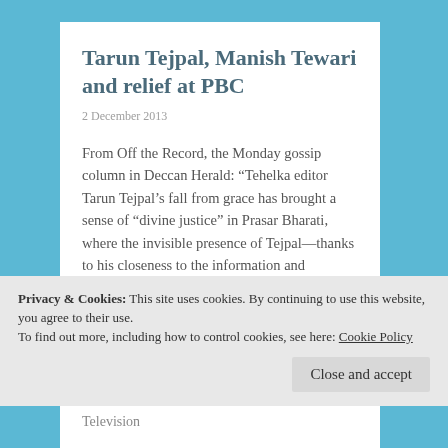Tarun Tejpal, Manish Tewari and relief at PBC
2 December 2013
From Off the Record, the Monday gossip column in Deccan Herald: “Tehelka editor Tarun Tejpal’s fall from grace has brought a sense of “divine justice” in Prasar Bharati, where the invisible presence of Tejpal—thanks to his closeness to the information and broadcasting minister Manish Tewari—
Privacy & Cookies: This site uses cookies. By continuing to use this website, you agree to their use.
To find out more, including how to control cookies, see here: Cookie Policy
Close and accept
Television